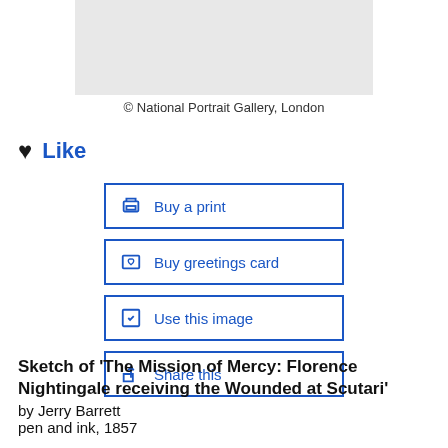[Figure (photo): Gray placeholder image box representing a cropped artwork photo]
© National Portrait Gallery, London
♥ Like
Buy a print
Buy greetings card
Use this image
Share this
Sketch of 'The Mission of Mercy: Florence Nightingale receiving the Wounded at Scutari'
by Jerry Barrett
pen and ink, 1857